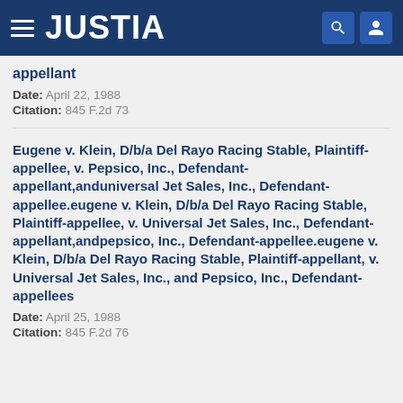JUSTIA
appellant
Date: April 22, 1988
Citation: 845 F.2d 73
Eugene v. Klein, D/b/a Del Rayo Racing Stable, Plaintiff-appellee, v. Pepsico, Inc., Defendant-appellant,anduniversal Jet Sales, Inc., Defendant-appellee.eugene v. Klein, D/b/a Del Rayo Racing Stable, Plaintiff-appellee, v. Universal Jet Sales, Inc., Defendant-appellant,andpepsico, Inc., Defendant-appellee.eugene v. Klein, D/b/a Del Rayo Racing Stable, Plaintiff-appellant, v. Universal Jet Sales, Inc., and Pepsico, Inc., Defendant-appellees
Date: April 25, 1988
Citation: 845 F.2d 76